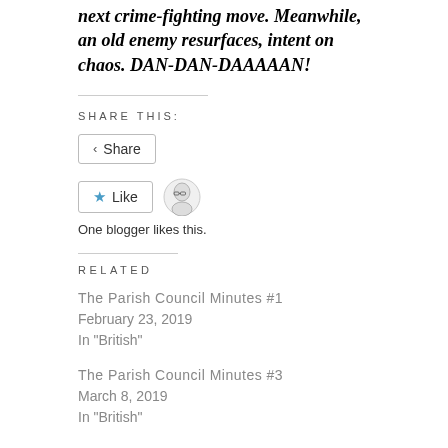next crime-fighting move. Meanwhile, an old enemy resurfaces, intent on chaos. DAN-DAN-DAAAAAN!
SHARE THIS:
Share
Like
One blogger likes this.
RELATED
The Parish Council Minutes #1
February 23, 2019
In "British"
The Parish Council Minutes #3
March 8, 2019
In "British"